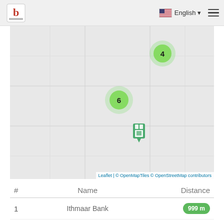b | English ▾ ≡
[Figure (map): Interactive map showing locations with green cluster markers. Marker '4' visible near top center, marker '6' in center-left area, and a bank/ATM pin icon below center. Map background is light gray (OpenStreetMap tiles).]
Leaflet | © OpenMapTiles © OpenStreetMap contributors
| # | Name | Distance |
| --- | --- | --- |
| 1 | Ithmaar Bank | 999 m |